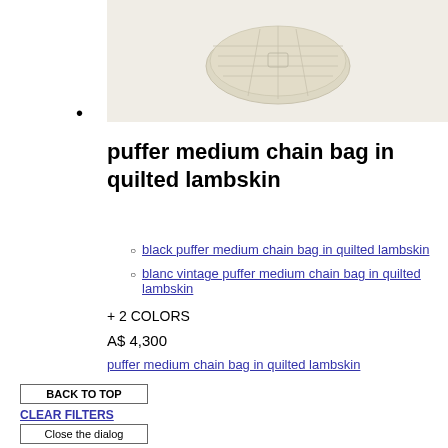[Figure (photo): Product photo of a cream/beige quilted lambskin puffer bag viewed from above against a light background]
puffer medium chain bag in quilted lambskin
black puffer medium chain bag in quilted lambskin
blanc vintage puffer medium chain bag in quilted lambskin
+ 2 COLORS
A$ 4,300
puffer medium chain bag in quilted lambskin
BACK TO TOP
CLEAR FILTERS
Close the dialog